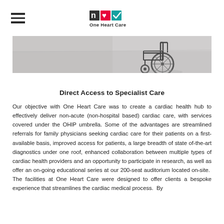One Heart Care
[Figure (photo): Black and white photo of a wheelchair in a corridor/hallway, partially visible at the top of the page.]
Direct Access to Specialist Care
Our objective with One Heart Care was to create a cardiac health hub to effectively deliver non-acute (non-hospital based) cardiac care, with services covered under the OHIP umbrella. Some of the advantages are streamlined referrals for family physicians seeking cardiac care for their patients on a first-available basis, improved access for patients, a large breadth of state of-the-art diagnostics under one roof, enhanced collaboration between multiple types of cardiac health providers and an opportunity to participate in research, as well as offer an on-going educational series at our 200-seat auditorium located on-site. The facilities at One Heart Care were designed to offer clients a bespoke experience that streamlines the cardiac medical process. By